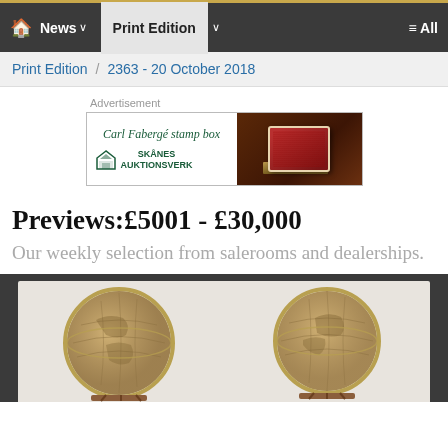🏠 News ∨  Print Edition ∨  ≡ All
Print Edition / 2363 - 20 October 2018
Advertisement
[Figure (other): Carl Fabergé stamp box advertisement for Skånes Auktionsverk, showing decorative stamp box with playing cards]
Previews:£5001 - £30,000
Our weekly selection from salerooms and dealerships.
[Figure (photo): Two antique globes on wooden stands with brass meridian rings, set against dark grey background]